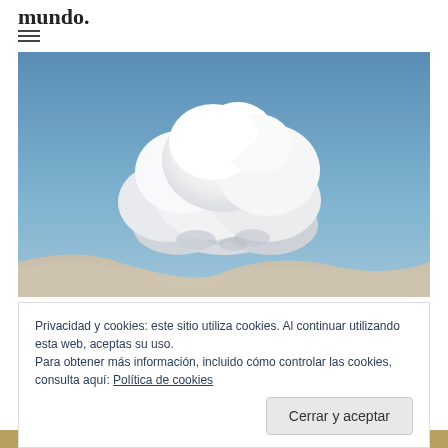mundo.
[Figure (photo): A white cumulus cloud against a blue sky with sandy ground at the bottom]
Privacidad y cookies: este sitio utiliza cookies. Al continuar utilizando esta web, aceptas su uso.
Para obtener más información, incluido cómo controlar las cookies, consulta aquí: Política de cookies
Cerrar y aceptar